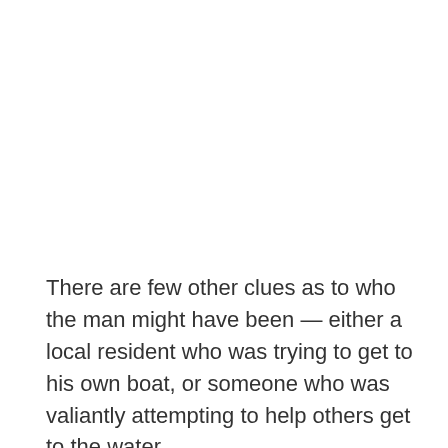There are few other clues as to who the man might have been — either a local resident who was trying to get to his own boat, or someone who was valiantly attempting to help others get to the water.
The team of archaeologists are planning to